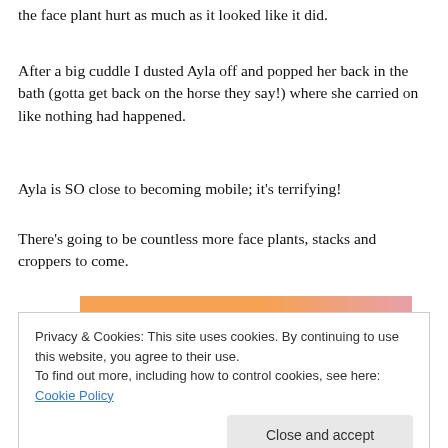the face plant hurt as much as it looked like it did.
After a big cuddle I dusted Ayla off and popped her back in the bath (gotta get back on the horse they say!) where she carried on like nothing had happened.
Ayla is SO close to becoming mobile; it's terrifying!
There's going to be countless more face plants, stacks and croppers to come.
[Figure (illustration): Partial banner image with orange and pink gradient background, bold dark serif text reading 'in the back.']
Privacy & Cookies: This site uses cookies. By continuing to use this website, you agree to their use.
To find out more, including how to control cookies, see here: Cookie Policy

Close and accept